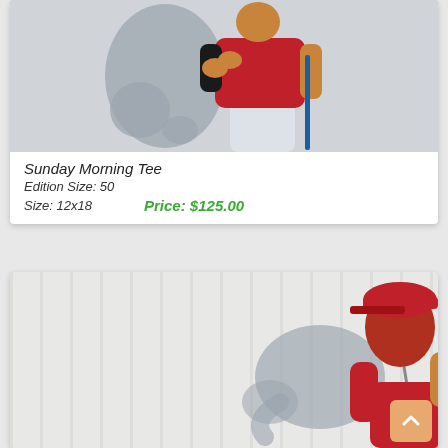[Figure (illustration): Painting of a person in a red shirt and white pants holding a golf club, with a grey Africa-shaped shadow behind them, on a light grey background.]
Sunday Morning Tee
Edition Size: 50
Size: 12x18   Price: $125.00
[Figure (illustration): Painting of a child in a red shirt and red cap holding a stethoscope to their ear, with a grey elephant shadow behind them, on a white/light grey striped background.]